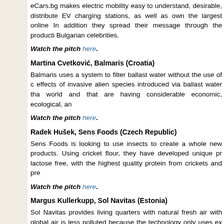eCars.bg makes electric mobility easy to understand, desirable, distribute EV charging stations, as well as own the largest online In addition they spread their message through the production of Bulgarian celebrities.
Watch the pitch here.
Martina Cvetković, Balmaris (Croatia)
Balmaris uses a system to filter ballast water without the use of chemicals. effects of invasive alien species introduced via ballast water that world and that are having considerable economic, ecological, and
Watch the pitch here.
Radek Hušek, Sens Foods (Czech Republic)
Sens Foods is looking to use insects to create a whole new products. Using cricket flour, they have developed unique products lactose free, with the highest quality protein from crickets and pre
Watch the pitch here.
Margus Kullerkupp, Sol Navitas (Estonia)
Sol Navitas provides living quarters with natural fresh air with global air is less polluted because the technology only uses ex CO2 into the atmosphere.
Watch the pitch here